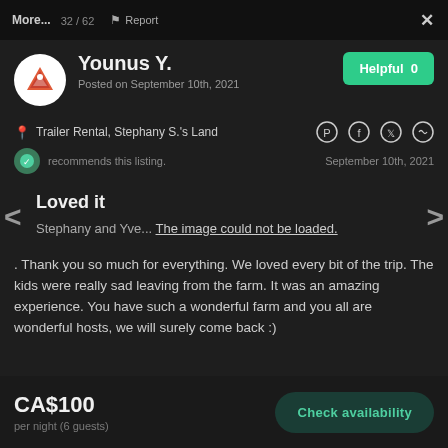More...
32 / 62
Report
×
Younus Y.
Posted on September 10th, 2021
Helpful 0
Trailer Rental, Stephany S.'s Land
recommends this listing.
September 10th, 2021
Loved it
Stephany and Yve... The image could not be loaded.
. Thank you so much for everything. We loved every bit of the trip. The kids were really sad leaving from the farm. It was an amazing experience. You have such a wonderful farm and you all are wonderful hosts, we will surely come back :)
CA$100
per night (6 guests)
Check availability